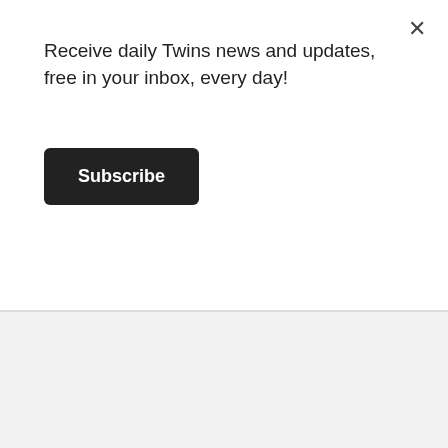Receive daily Twins news and updates, free in your inbox, every day!
Subscribe
RJA  1,465
Gold Caretaker ⭐
Posted May 22
On 5/22/2022 at 3:46 PM, Seth Stohs said: